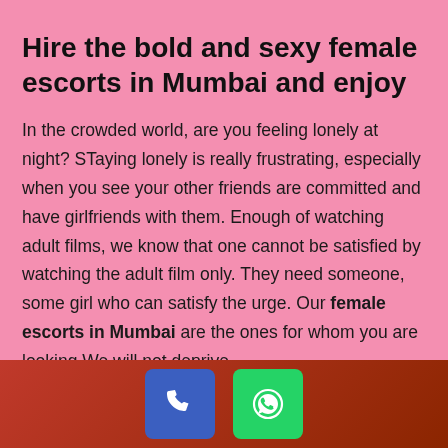Hire the bold and sexy female escorts in Mumbai and enjoy
In the crowded world, are you feeling lonely at night? STaying lonely is really frustrating, especially when you see your other friends are committed and have girlfriends with them. Enough of watching adult films, we know that one cannot be satisfied by watching the adult film only. They need someone, some girl who can satisfy the urge. Our female escorts in Mumbai are the ones for whom you are looking.We will not deprive
[Figure (infographic): Footer bar with reddish-brown gradient background containing a blue call button (phone icon) and a green WhatsApp button (WhatsApp logo icon)]